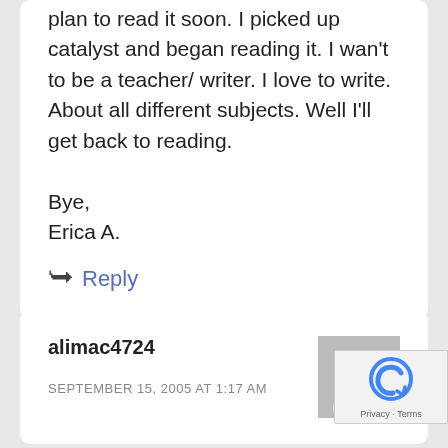plan to read it soon. I picked up catalyst and began reading it. I wan't to be a teacher/ writer. I love to write. About all different subjects. Well I'll get back to reading.

Bye,
Erica A.
Reply
alimac4724
SEPTEMBER 15, 2005 AT 1:17 AM